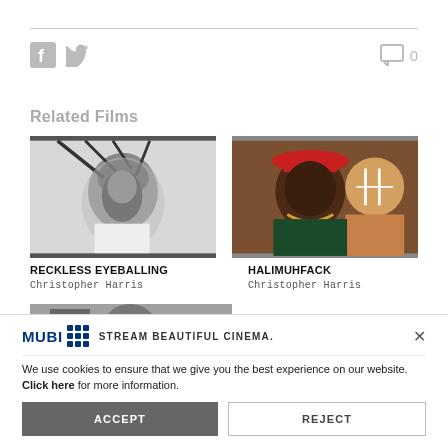[Figure (screenshot): Social media icons: Facebook (F) and Twitter (bird) icons on the left, comment bubble with count 0 on the right]
Related Films
[Figure (photo): Black and white film still showing a person under a tree]
RECKLESS EYEBALLING
Christopher Harris
[Figure (photo): Color photo of a woman wearing a red hat with face paint, another person behind her]
HALIMUHFACK
Christopher Harris
[Figure (photo): Black and white photo, partially visible, third related film]
[Figure (screenshot): MUBI banner: MUBI logo with grid of blue dots, text STREAM BEAUTIFUL CINEMA, close X button]
We use cookies to ensure that we give you the best experience on our website. Click here for more information.
ACCEPT
REJECT